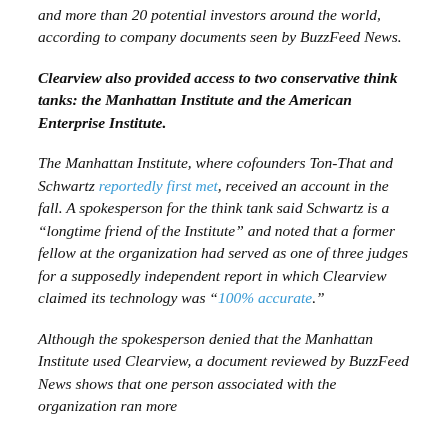and more than 20 potential investors around the world, according to company documents seen by BuzzFeed News.
Clearview also provided access to two conservative think tanks: the Manhattan Institute and the American Enterprise Institute.
The Manhattan Institute, where cofounders Ton-That and Schwartz reportedly first met, received an account in the fall. A spokesperson for the think tank said Schwartz is a “longtime friend of the Institute” and noted that a former fellow at the organization had served as one of three judges for a supposedly independent report in which Clearview claimed its technology was “100% accurate.”
Although the spokesperson denied that the Manhattan Institute used Clearview, a document reviewed by BuzzFeed News shows that one person associated with the organization ran more